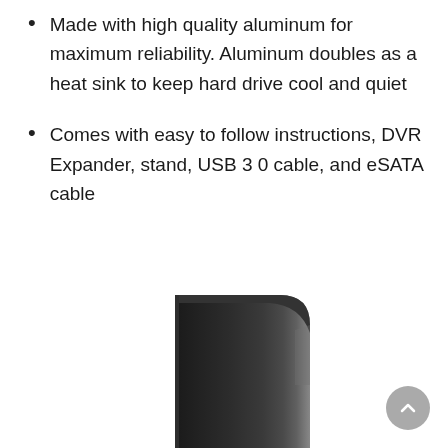Made with high quality aluminum for maximum reliability. Aluminum doubles as a heat sink to keep hard drive cool and quiet
Comes with easy to follow instructions, DVR Expander, stand, USB 3 0 cable, and eSATA cable
[Figure (photo): External hard drive enclosure standing vertically, black aluminum body with rounded top-right corner, shown from a straight-on perspective]